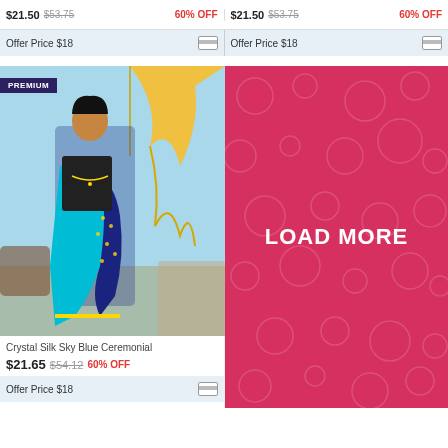$21.50 $53.75 60% OFF | $21.50 $53.75 60% OFF
Offer Price $18 | Offer Price $18
[Figure (photo): Woman wearing Crystal Silk Sky Blue Ceremonial saree with PREMIUM badge]
LOAD MORE
Crystal Silk Sky Blue Ceremonial
$21.65 $54.12 60% OFF
Offer Price $18